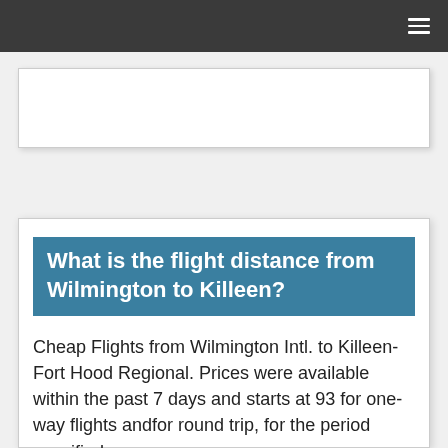[Figure (other): Advertisement placeholder box]
What is the flight distance from Wilmington to Killeen?
Cheap Flights from Wilmington Intl. to Killeen-Fort Hood Regional. Prices were available within the past 7 days and starts at 93 for one-way flights andfor round trip, for the period specified.